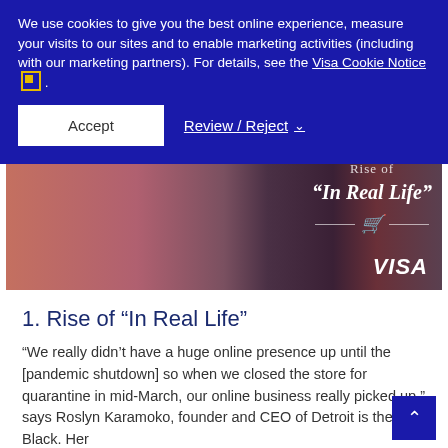We use cookies to give you the best online experience, measure your visits to our sites and to enable marketing activities (including with our marketing partners). For details, see the Visa Cookie Notice .
Accept | Review / Reject
[Figure (photo): Hero image showing clothing items on hangers, with overlay text 'Rise of "In Real Life"' and shopping cart icon, and Visa logo in bottom right]
1. Rise of “In Real Life”
“We really didn’t have a huge online presence up until the [pandemic shutdown] so when we closed the store for quarantine in mid-March, our online business really picked up,” says Roslyn Karamoko, founder and CEO of Detroit is the New Black. Her